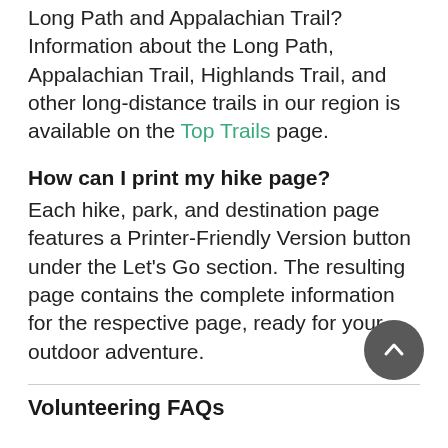Long Path and Appalachian Trail? Information about the Long Path, Appalachian Trail, Highlands Trail, and other long-distance trails in our region is available on the Top Trails page.
How can I print my hike page?
Each hike, park, and destination page features a Printer-Friendly Version button under the Let's Go section. The resulting page contains the complete information for the respective page, ready for your outdoor adventure.
Volunteering FAQs